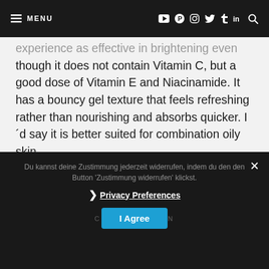≡ MENU
experience as effective in brightening even though it does not contain Vitamin C, but a good dose of Vitamin E and Niacinamide. It has a bouncy gel texture that feels refreshing rather than nourishing and absorbs quicker. I'd say it is better suited for combination oily skin.
Read my full review of the klairs Freshly Juiced Vitamin E Sleeping Mask here
Du kannst deine Zustimmung jederzeit widerrufen, indem du den den Button 'Zustimmung widerrufen' klickst.
Privacy Preferences
COOKIE QUEEN
I Agree